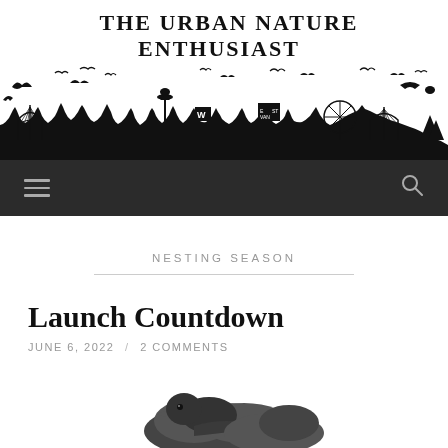The Urban Nature Enthusiast
[Figure (illustration): Black silhouette skyline illustration featuring birds in flight, city bridges, trees, a Ferris wheel, and urban skyline elements including the Space Needle and other landmarks.]
Navigation bar with hamburger menu and search icon
NESTING SEASON
Launch Countdown
JUNE 6, 2022 / 2 COMMENTS
[Figure (photo): Partial photo of a bird (appears to be a crow or similar dark bird) at the bottom of the page, cropped.]